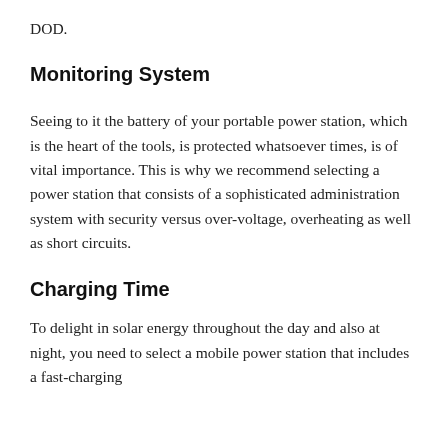DOD.
Monitoring System
Seeing to it the battery of your portable power station, which is the heart of the tools, is protected whatsoever times, is of vital importance. This is why we recommend selecting a power station that consists of a sophisticated administration system with security versus over-voltage, overheating as well as short circuits.
Charging Time
To delight in solar energy throughout the day and also at night, you need to select a mobile power station that includes a fast-charging